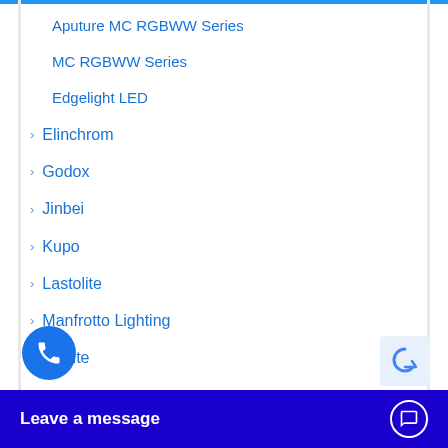Aputure MC RGBWW Series
MC RGBWW Series
Edgelight LED
Elinchrom
Godox
Jinbei
Kupo
Lastolite
Manfrotto Lighting
nanlite
Leave a message